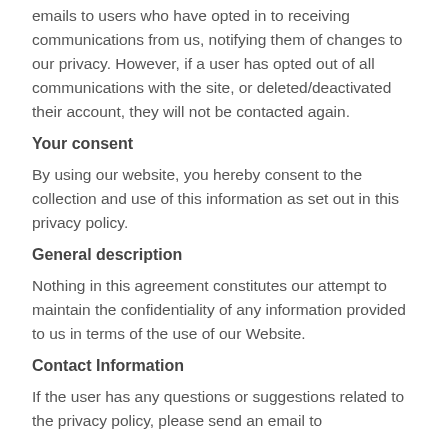emails to users who have opted in to receiving communications from us, notifying them of changes to our privacy. However, if a user has opted out of all communications with the site, or deleted/deactivated their account, they will not be contacted again.
Your consent
By using our website, you hereby consent to the collection and use of this information as set out in this privacy policy.
General description
Nothing in this agreement constitutes our attempt to maintain the confidentiality of any information provided to us in terms of the use of our Website.
Contact Information
If the user has any questions or suggestions related to the privacy policy, please send an email to